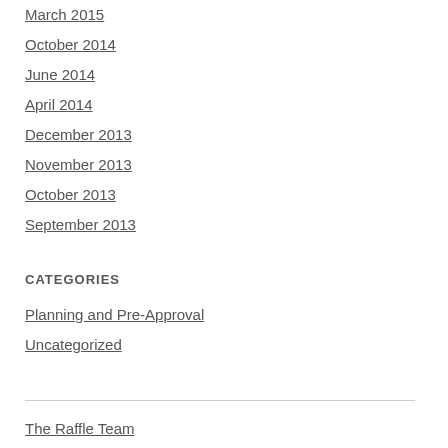March 2015
October 2014
June 2014
April 2014
December 2013
November 2013
October 2013
September 2013
CATEGORIES
Planning and Pre-Approval
Uncategorized
The Raffle Team